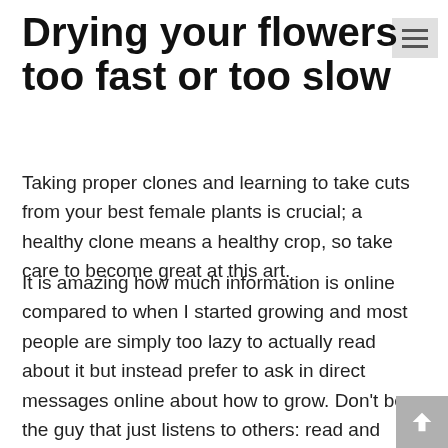Drying your flowers too fast or too slow
Taking proper clones and learning to take cuts from your best female plants is crucial; a healthy clone means a healthy crop, so take care to become great at this art.
It is amazing how much information is online compared to when I started growing and most people are simply too lazy to actually read about it but instead prefer to ask in direct messages online about how to grow. Don't be the guy that just listens to others: read and learn. I suggest The School of Dank at Subcool.com and Ed Rosenthal's books on marijuana cultivation as a starting point. Jorge Cervantes is also an excellent online teacher. You can also watch over 750 Videos on Youtube at The Weednerd and learn everything